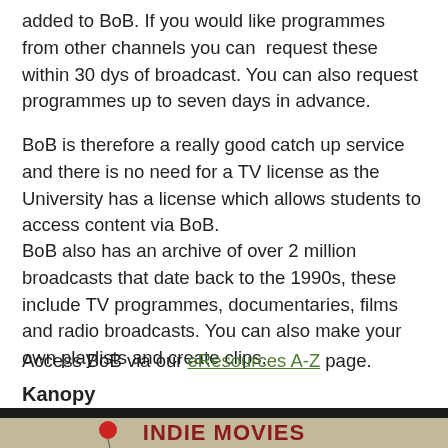added to BoB. If you would like programmes from other channels you can request these within 30 dys of broadcast. You can also request programmes up to seven days in advance.
BoB is therefore a really good catch up service and there is no need for a TV license as the University has a license which allows students to access content via BoB.
BoB also has an archive of over 2 million broadcasts that date back to the 1990s, these include TV programmes, documentaries, films and radio broadcasts. You can also make your own playlists and create clips.
Access BoB via our eResources A-Z page.
Kanopy
[Figure (screenshot): Screenshot of the Kanopy website interface showing the navigation bar with logo, Subjects menu, search box, Log in and Sign up buttons, and a banner reading INDIE MOVIES with a red balloon image.]